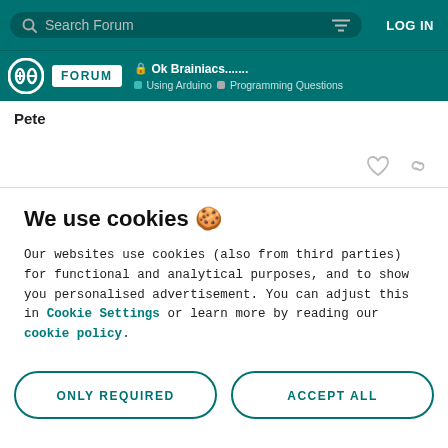Search Forum | LOG IN
FORUM | Ok Brainiacs....... | Using Arduino | Programming Questions
Pete
We use cookies 🍪
Our websites use cookies (also from third parties) for functional and analytical purposes, and to show you personalised advertisement. You can adjust this in Cookie Settings or learn more by reading our cookie policy.
ONLY REQUIRED
ACCEPT ALL